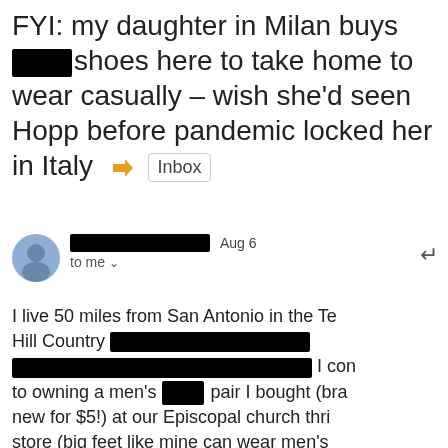FYI: my daughter in Milan buys [redacted] shoes here to take home to wear casually - wish she'd seen Hopp before pandemic locked her in Italy  [arrow] Inbox
[redacted name] Aug 6 to me
I live 50 miles from San Antonio in the Te Hill Country [redacted] I con to owning a men's [redacted] pair I bought (bra new for $5!) at our Episcopal church thri store (big feet like mine can wear men's shoes) where I volunteered pre-pandemic can't fly to Italy to see my latest Italian-T "pandemic" grandchild (thanks to incompetent federal public health management making USA unwelcome everywhere) but the grandpa and I are m